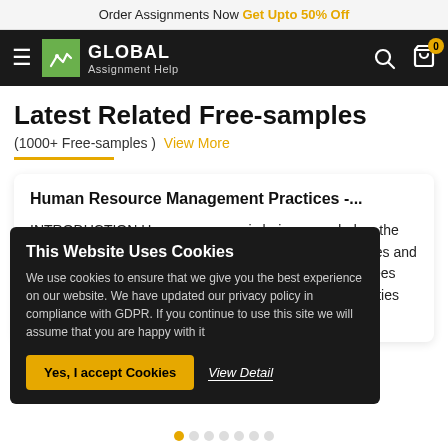Order Assignments Now Get Upto 50% Off
[Figure (logo): Global Assignment Help logo with hamburger menu, search icon, and cart icon on dark nav bar]
Latest Related Free-samples
(1000+ Free-samples )  View More
Human Resource Management Practices -...
INTRODUCTION Human resource is being regarded as the most vital asset of the organization in relation with abilities and skills. The Human capital in the form of owners, employees and personnel who are responsible to manage the activities and tasks of the organization effectively. These tasks
This Website Uses Cookies
We use cookies to ensure that we give you the best experience on our website. We have updated our privacy policy in compliance with GDPR. If you continue to use this site we will assume that you are happy with it
Yes, I accept Cookies   View Detail